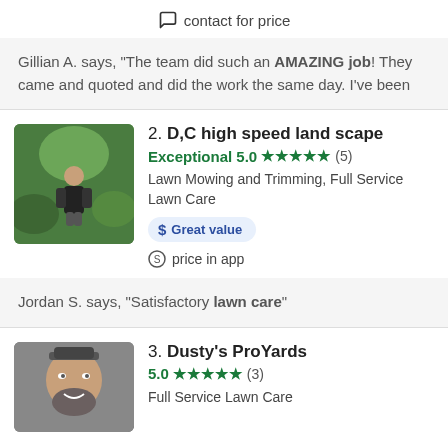contact for price
Gillian A. says, "The team did such an AMAZING job! They came and quoted and did the work the same day. I've been
2. D,C high speed land scape
Exceptional 5.0 ★★★★★ (5)
Lawn Mowing and Trimming, Full Service Lawn Care
Great value
price in app
Jordan S. says, "Satisfactory lawn care"
3. Dusty's ProYards
5.0 ★★★★★ (3)
Full Service Lawn Care